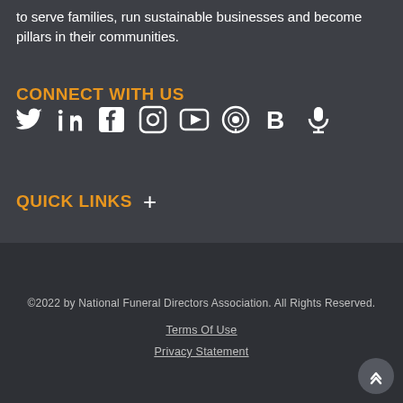to serve families, run sustainable businesses and become pillars in their communities.
CONNECT WITH US
[Figure (infographic): Row of social media icons: Twitter, LinkedIn, Facebook, Instagram, YouTube, Podcast, Buzzsprout/B, Microphone]
QUICK LINKS +
©2022 by National Funeral Directors Association. All Rights Reserved.
Terms Of Use
Privacy Statement